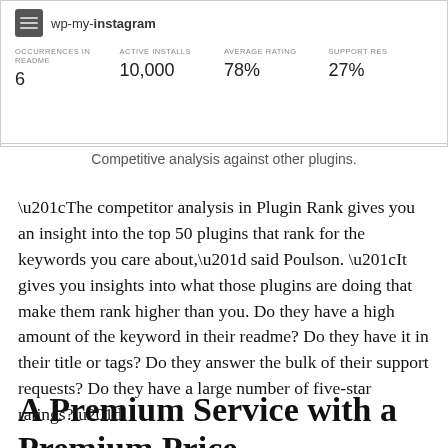[Figure (screenshot): Partial screenshot of a plugin competitive analysis table showing wp-my-instagram with stats: Occurrences in Readme: 6, Active Installs: 10,000, Average Rating: 78%, Support Res: 27%]
Competitive analysis against other plugins.
“The competitor analysis in Plugin Rank gives you an insight into the top 50 plugins that rank for the keywords you care about,” said Poulson. “It gives you insights into what those plugins are doing that make them rank higher than you. Do they have a high amount of the keyword in their readme? Do they have it in their title or tags? Do they answer the bulk of their support requests? Do they have a large number of five-star ratings?”
A Premium Service with a Premium Price